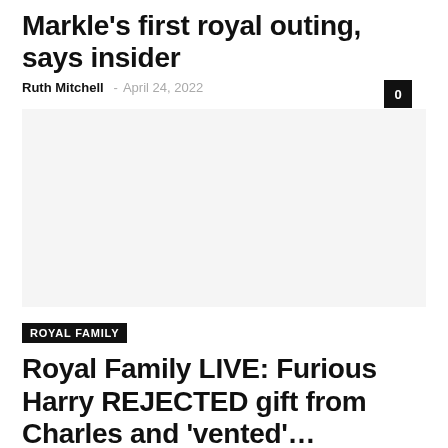Markle's first royal outing, says insider
Ruth Mitchell – April 24, 2022
[Figure (photo): Large white/empty image placeholder for article]
ROYAL FAMILY
Royal Family LIVE: Furious Harry REJECTED gift from Charles and 'vented'…
Ruth Mitchell – April 23, 2022